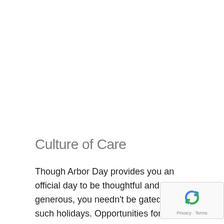Culture of Care
Though Arbor Day provides you an official day to be thoughtful and generous, you needn't be gated by such holidays. Opportunities for generous design are all around us. The best thing is you don't have to be a designer by title or role – a bird isn't, after all. You can participate at any time, in planting a tree or other